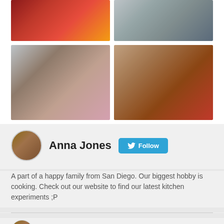[Figure (photo): Four food and lifestyle photos in a 2x2 grid: lobster dish, restaurant interior, a girl with dark hair, and chocolate dessert with pomegranate]
Anna Jones
Follow
A part of a happy family from San Diego. Our biggest hobby is cooking. Check out our website to find our latest kitchen experiments ;P
Anna Jones  25 Jan 2018
Spent some times today browsing through Coursera today. Educate yourself whenever